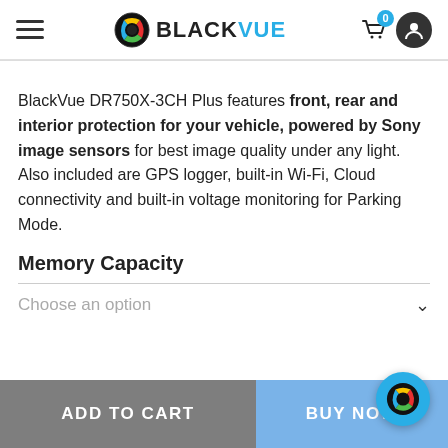BlackVue
BlackVue DR750X-3CH Plus features front, rear and interior protection for your vehicle, powered by Sony image sensors for best image quality under any light. Also included are GPS logger, built-in Wi-Fi, Cloud connectivity and built-in voltage monitoring for Parking Mode.
Memory Capacity
Choose an option
ADD TO CART
BUY NOW